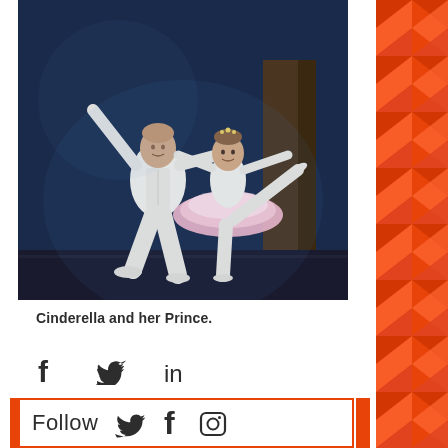[Figure (photo): Two ballet dancers performing on stage. A male dancer in white supports a female dancer in a pink tutu in a graceful arabesque pose.]
Cinderella and her Prince.
[Figure (infographic): Social sharing icons: Facebook (f), Twitter (bird), LinkedIn (in)]
[Figure (infographic): Heart/like icon (outline heart in red/pink)]
Follow